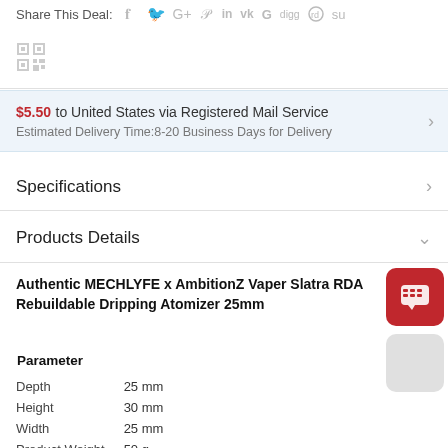Share This Deal:
[Figure (other): QR code small icon]
$5.50 to United States via Registered Mail Service
Estimated Delivery Time:8-20 Business Days for Delivery
Specifications
Products Details
Authentic MECHLYFE x AmbitionZ Vaper Slatra RDA Rebuildable Dripping Atomizer 25mm
| Parameter |  |
| --- | --- |
| Depth | 25 mm |
| Height | 30 mm |
| Width | 25 mm |
| Product Weight | 50 g |